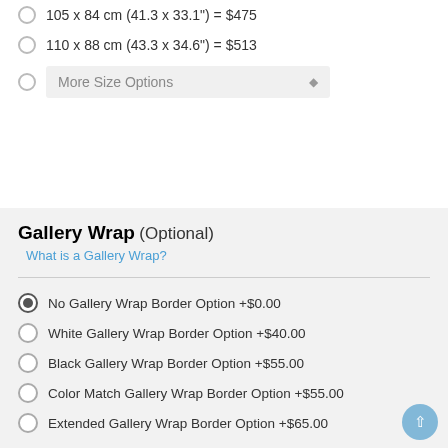105 x 84 cm (41.3 x 33.1") = $475
110 x 88 cm (43.3 x 34.6") = $513
More Size Options (dropdown)
Gallery Wrap (Optional)
What is a Gallery Wrap?
No Gallery Wrap Border Option +$0.00
White Gallery Wrap Border Option +$40.00
Black Gallery Wrap Border Option +$55.00
Color Match Gallery Wrap Border Option +$55.00
Extended Gallery Wrap Border Option +$65.00